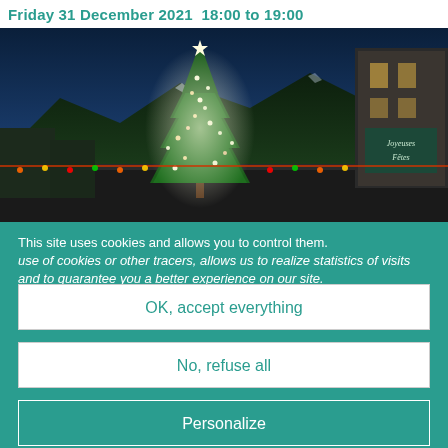Friday 31 December 2021  18:00 to 19:00
[Figure (photo): Nighttime Christmas scene with a large illuminated Christmas tree in a town square, snow-covered mountains in the background, a church/building with 'Joyeuses Fêtes' sign on the right, and festive lights along rooftop edges.]
This site uses cookies and allows you to control them. use of cookies or other tracers, allows us to realize statistics of visits and to guarantee you a better experience on our site.
OK, accept everything
No, refuse all
Personalize